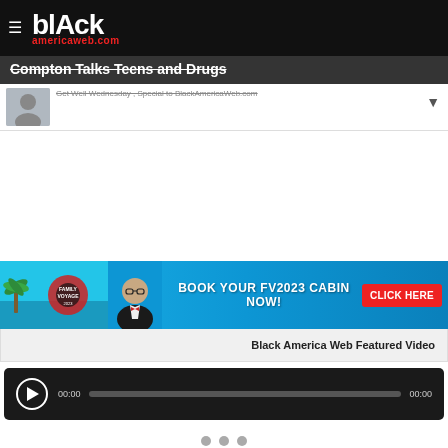blAck americaweb.com
Compton Talks Teens and Drugs
Get Well Wednesday , Special to BlackAmericaWeb.com
[Figure (infographic): Advertisement banner: BOOK YOUR FV2023 CABIN NOW! CLICK HERE — blue background with cruise imagery and a bald man in tuxedo]
Black America Web Featured Video
[Figure (screenshot): Audio player with play button, progress bar showing 00:00 and 00:00]
[Figure (infographic): Navigation dots — three gray circles]